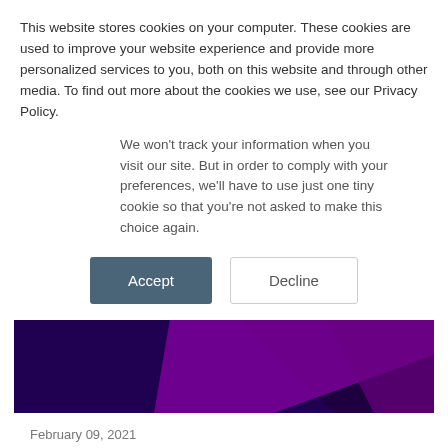This website stores cookies on your computer. These cookies are used to improve your website experience and provide more personalized services to you, both on this website and through other media. To find out more about the cookies we use, see our Privacy Policy.
We won't track your information when you visit our site. But in order to comply with your preferences, we'll have to use just one tiny cookie so that you're not asked to make this choice again.
Accept | Decline
[Figure (illustration): Dark purple banner with angled purple/violet geometric shapes and 'Markets' text label]
February 09, 2021
Natwest Markets Trading Desk Adopt PPQ from ipushpull
By Katya Mironova